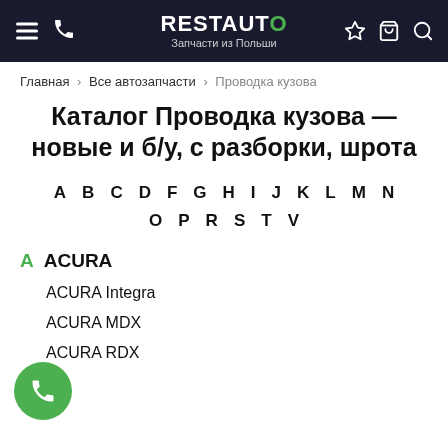RESTAUTO — Запчасти из Польши
Главная > Все автозапчасти > Проводка кузова
Каталог Проводка кузова — новые и б/у, с разборки, шрота
A B C D F G H I J K L M N O P R S T V
A ACURA
ACURA Integra
ACURA MDX
ACURA RDX